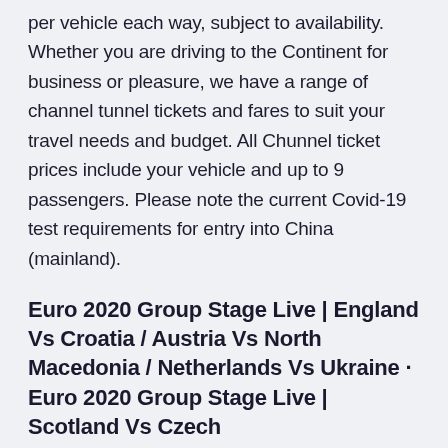per vehicle each way, subject to availability. Whether you are driving to the Continent for business or pleasure, we have a range of channel tunnel tickets and fares to suit your travel needs and budget. All Chunnel ticket prices include your vehicle and up to 9 passengers. Please note the current Covid-19 test requirements for entry into China (mainland).
Euro 2020 Group Stage Live | England Vs Croatia / Austria Vs North Macedonia / Netherlands Vs Ukraine · Euro 2020 Group Stage Live | Scotland Vs Czech
Best Prices for International Shipping with DHL, TNT, DPD & UPS. Fly from India on British Airways, Kam Air, Aeroflot and more.